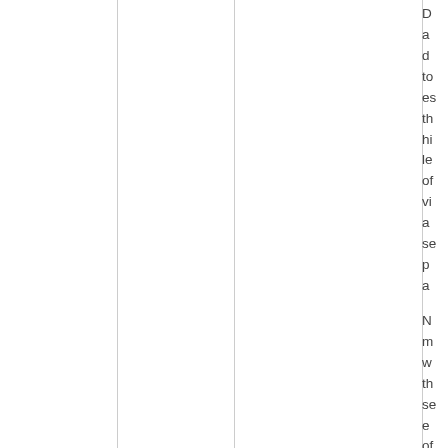Data and descriptions to estimate the high levels of viability and several properties available. Numerous methods with the several entities of a same...